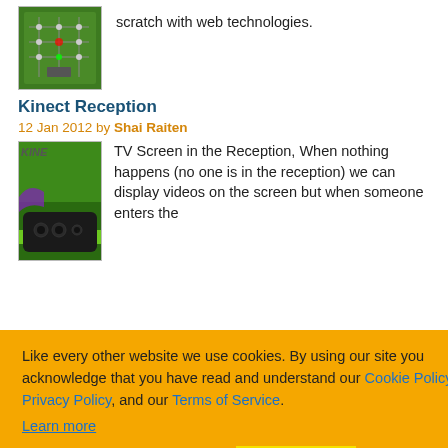[Figure (screenshot): Green circuit board / game screenshot thumbnail]
scratch with web technologies.
Kinect Reception
12 Jan 2012 by Shai Raiten
[Figure (photo): Kinect device with green background and KINE label]
TV Screen in the Reception, When nothing happens (no one is in the reception) we can display videos on the screen but when someone enters the ...ect Image, and ...ething funny, ...ave it.
Like every other website we use cookies. By using our site you acknowledge that you have read and understand our Cookie Policy, Privacy Policy, and our Terms of Service.
Learn more
Ask me later
Decline
Allow cookies
...ies of webpages
...nake a copy of ...our Browser ...ppCache featur...